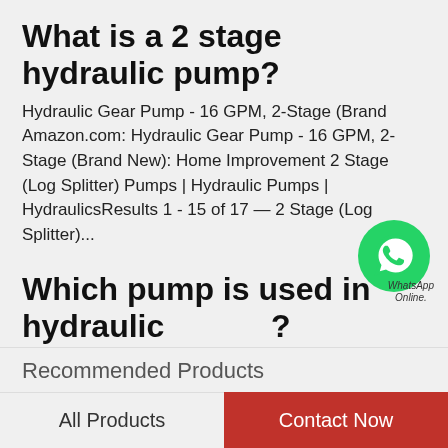What is a 2 stage hydraulic pump?
Hydraulic Gear Pump - 16 GPM, 2-Stage (Brand Amazon.com: Hydraulic Gear Pump - 16 GPM, 2-Stage (Brand New): Home Improvement 2 Stage (Log Splitter) Pumps | Hydraulic Pumps | HydraulicsResults 1 - 15 of 17 — 2 Stage (Log Splitter)...
Which pump is used in hydraulic jack?
[Figure (logo): WhatsApp green icon with phone symbol, labeled WhatsApp Online]
Hydraulic jack - DDL WikiFeb 3, 2014 — The Big Red Hydraulic Bottle Jack can be operated with everything in the Inner handle piece, used to pump fluid, Painted steel, Bent, Welded Jack (device) - WikipediaJump to Hydraulic jack — A...
Recommended Products
All Products
Contact Now